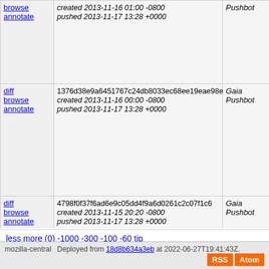| links | info | author | description |
| --- | --- | --- | --- |
| browse
annotate | created 2013-11-16 01:00 -0800
pushed 2013-11-17 13:28 +0000 | Pushbot | Bumping gaia.json for 2 gaia-central revisions a=gaia-bump |
| diff
browse
annotate | 1376d38e9a6451767c24db8033ec68ee19eae98e
created 2013-11-16 00:00 -0800
pushed 2013-11-17 13:28 +0000 | Gaia Pushbot | Gaia Pushbot Bumping gaia.json for 1 gaia-central revisions a=gaia-bump |
| diff
browse
annotate | 4798f0f37f6ad6e9c05dd4f9a6d0261c2c07f1c6
created 2013-11-15 20:20 -0800
pushed 2013-11-17 13:28 +0000 | Gaia Pushbot | Gaia Pushbot Bumping gaia.json for 2 gaia-central revisions a=gaia-bump |
less more (0) -1000 -300 -100 -60 tip
mozilla-central   Deployed from 18d8b634a3eb at 2022-06-27T19:41:43Z.